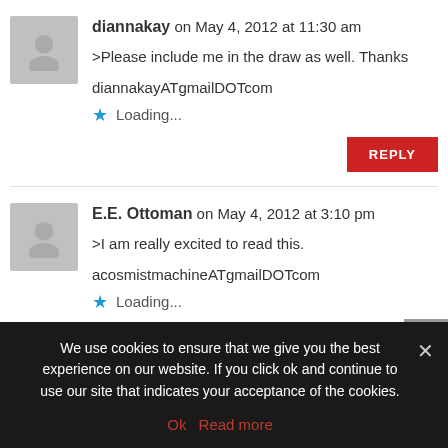diannakay on May 4, 2012 at 11:30 am
>Please include me in the draw as well. Thanks
diannakayATgmailDOTcom
Loading...
E.E. Ottoman on May 4, 2012 at 3:10 pm
>I am really excited to read this.
acosmistmachineATgmailDOTcom
Loading...
We use cookies to ensure that we give you the best experience on our website. If you click ok and continue to use our site that indicates your acceptance of the cookies.
Ok  Read more